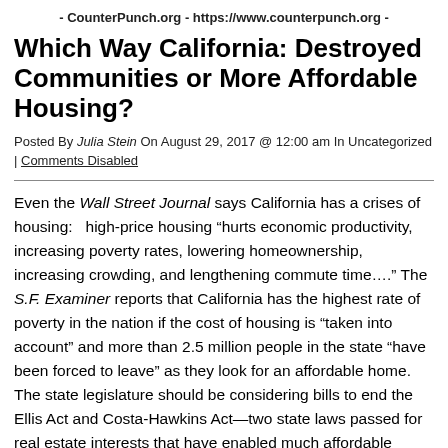- CounterPunch.org - https://www.counterpunch.org -
Which Way California: Destroyed Communities or More Affordable Housing?
Posted By Julia Stein On August 29, 2017 @ 12:00 am In Uncategorized | Comments Disabled
Even the Wall Street Journal says California has a crises of housing:   high-price housing “hurts economic productivity, increasing poverty rates, lowering homeownership, increasing crowding, and lengthening commute time….” The S.F. Examiner reports that California has the highest rate of poverty in the nation if the cost of housing is “taken into account” and more than 2.5 million people in the state “have been forced to leave” as they look for an affordable home. The state legislature should be considering bills to end the Ellis Act and Costa-Hawkins Act—two state laws passed for real estate interests that have enabled much affordable housing to be destroyed.